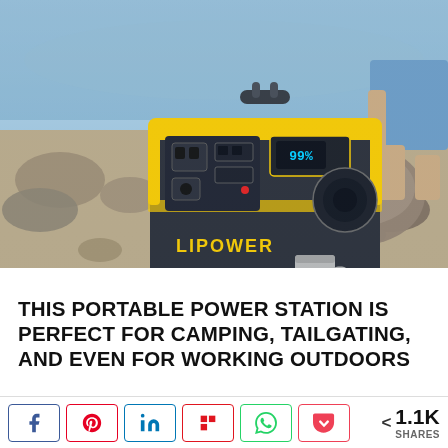[Figure (photo): A yellow and dark gray LIPOWER portable power station sitting on rocky ground near water. A person in denim shorts is crouching beside it holding what appears to be a cable or bag. A stainless steel camping mug sits on the rocks nearby. The device has a digital display showing 99%, multiple outlets, and the LIPOWER brand name in yellow letters.]
THIS PORTABLE POWER STATION IS PERFECT FOR CAMPING, TAILGATING, AND EVEN FOR WORKING OUTDOORS
< 1.1K SHARES (social share buttons: Facebook, Pinterest, LinkedIn, Flipboard, WhatsApp, Pocket)